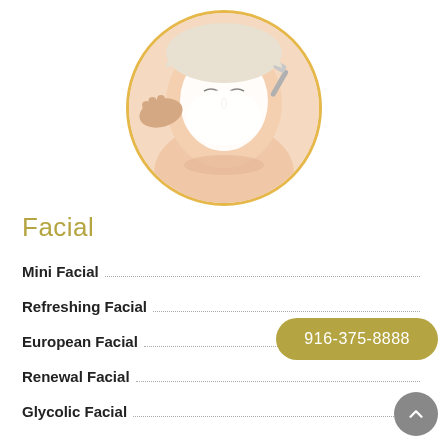[Figure (photo): Circular photo of a woman receiving a facial treatment with white cream mask applied to her face, with hands visible applying the treatment. Framed by a golden/amber circular border.]
Facial
Mini Facial
Refreshing Facial
European Facial
Renewal Facial
Glycolic Facial
916-375-8888